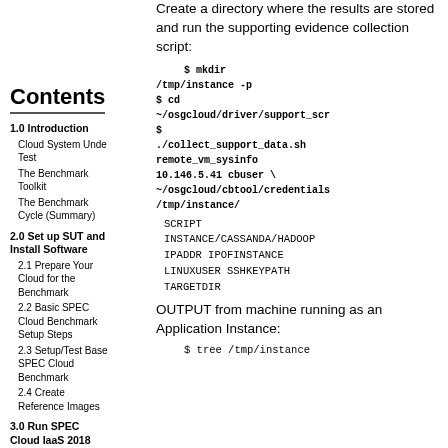Create a directory where the results are stored and run the supporting evidence collection script:
$ mkdir /tmp/instance -p
$ cd ~/osgcloud/driver/support_scr
$ ./collect_support_data.sh remote_vm_sysinfo 10.146.5.41 cbuser \
~/osgcloud/cbtool/credentials /tmp/instance/
SCRIPT INSTANCE/CASSANDA/HADOOP IPADDR IPOFINSTANCE LINUXUSER SSHKEYPATH TARGETDIR
Contents
1.0 Introduction
Cloud System Under Test
The Benchmark Toolkit
The Benchmark Cycle (Summary)
2.0 Set up SUT and Install Software
2.1 Prepare Your Cloud for the Benchmark
2.2 Basic SPEC Cloud Benchmark Setup Steps
2.3 Setup/Test Base SPEC Cloud Benchmark
2.4 Create Reference Images
3.0 Run SPEC Cloud IaaS 2018 Benchmarks
OUTPUT from machine running as an Application Instance:
$ tree /tmp/instance